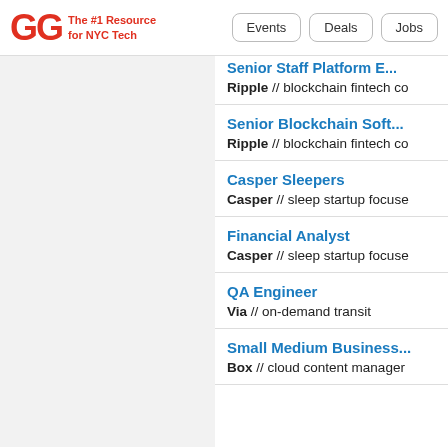GG The #1 Resource for NYC Tech | Events | Deals | Jobs
Senior Staff Platform E... / Ripple // blockchain fintech co
Senior Blockchain Soft... / Ripple // blockchain fintech co
Casper Sleepers / Casper // sleep startup focuse
Financial Analyst / Casper // sleep startup focuse
QA Engineer / Via // on-demand transit
Small Medium Business... / Box // cloud content manager